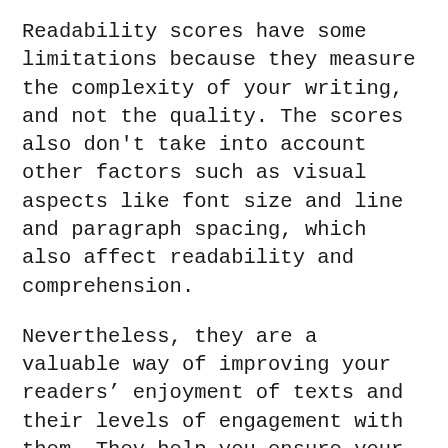Readability scores have some limitations because they measure the complexity of your writing, and not the quality. The scores also don't take into account other factors such as visual aspects like font size and line and paragraph spacing, which also affect readability and comprehension.
Nevertheless, they are a valuable way of improving your readers’ enjoyment of texts and their levels of engagement with them. They help you ensure your writing is targeting the right age level, and has an appropriate level of complexity